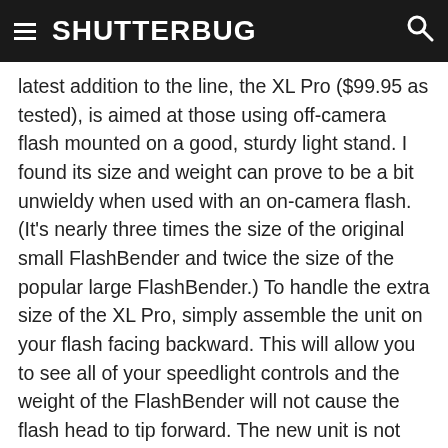SHUTTERBUG
latest addition to the line, the XL Pro ($99.95 as tested), is aimed at those using off-camera flash mounted on a good, sturdy light stand. I found its size and weight can prove to be a bit unwieldy when used with an on-camera flash. (It's nearly three times the size of the original small FlashBender and twice the size of the popular large FlashBender.) To handle the extra size of the XL Pro, simply assemble the unit on your flash facing backward. This will allow you to see all of your speedlight controls and the weight of the FlashBender will not cause the flash head to tip forward. The new unit is not only larger in size—it is now offered in a complete kit form with numerous accessories and modifying options.